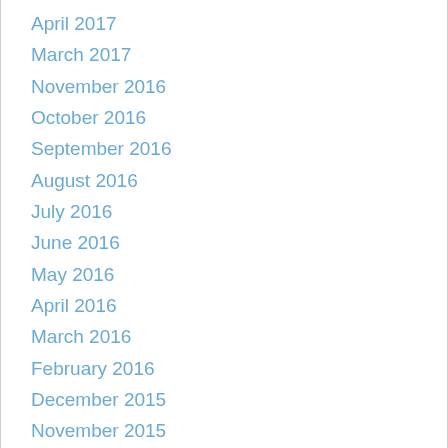April 2017
March 2017
November 2016
October 2016
September 2016
August 2016
July 2016
June 2016
May 2016
April 2016
March 2016
February 2016
December 2015
November 2015
October 2015
September 2015
August 2015
July 2015
June 2015
May 2015
April 2015